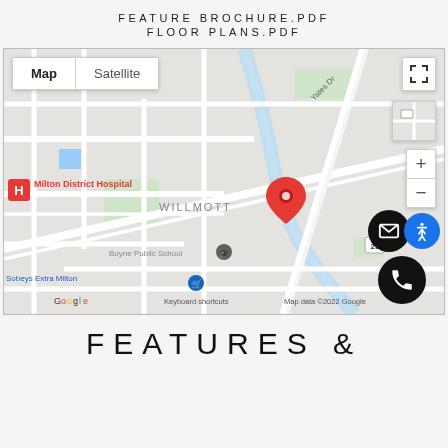FEATURE BROCHURE.PDF
FLOOR PLANS.PDF
[Figure (map): Google Map showing Milton District Hospital, WILLMOTT neighbourhood, Boyne Public School, Sobeys Extra Milton, with a red location pin marker near route 25 and Yates Dr. Map/Satellite toggle buttons visible top-left. Fullscreen icon top-right. Email and phone FAB buttons bottom-right.]
FEATURES &